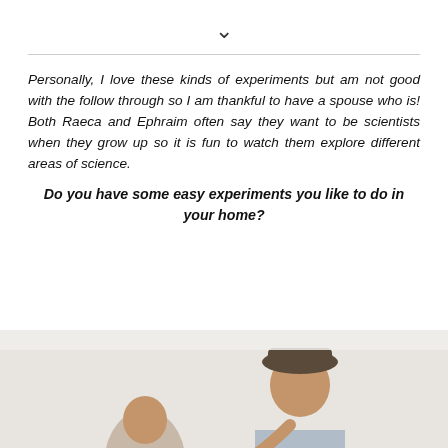▾
Personally, I love these kinds of experiments but am not good with the follow through so I am thankful to have a spouse who is! Both Raeca and Ephraim often say they want to be scientists when they grow up so it is fun to watch them explore different areas of science.
Do you have some easy experiments you like to do in your home?
[Figure (photo): A person (child or young person) photographed from the waist up, partially visible at the bottom of the page, appears to be doing an activity.]
∧